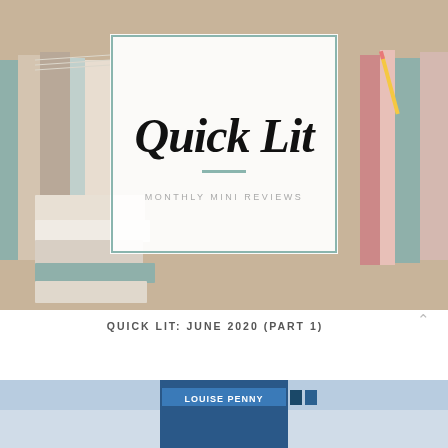[Figure (photo): Background photo of stacked books in warm tones with a white overlay box in the center containing the Quick Lit logo. The box has a sage green/teal border and contains the text 'Quick Lit' in large bold italic script and 'MONTHLY MINI REVIEWS' in small spaced capital letters with a teal divider line between them.]
QUICK LIT: JUNE 2020 (PART 1)
[Figure (photo): Partial photo at the bottom of the page showing a book with 'LOUISE PENNY' visible on the cover, against a blue sky background.]